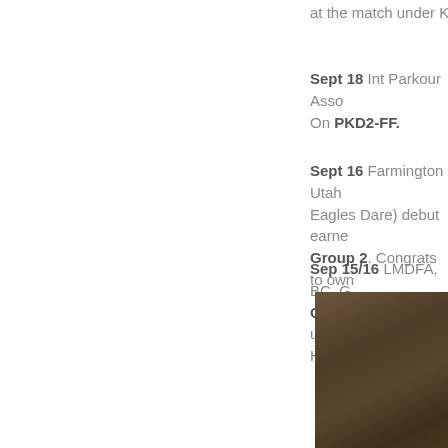at the match under Katie ...
Sept 18 Int Parkour Assoc... On PKD2-FF.
Sept 16 Farmington Utah ... Eagles Dare) debut earned... Group 2. Congrats to own...
Sep 15/16 LMDFA, BC, G... Championship under Dia... Hastings (Ireland).
[Figure (photo): Brown/dark tan textured background photo, partially visible on the right side of the page]